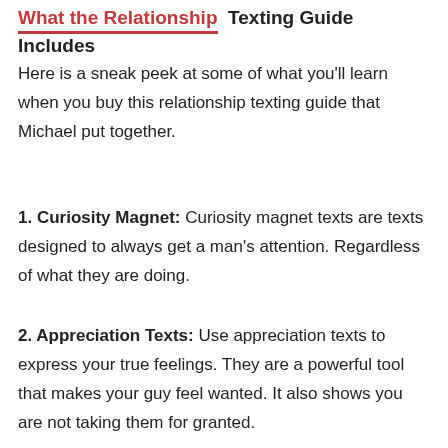What the Relationship Texting Guide Includes
Here is a sneak peek at some of what you'll learn when you buy this relationship texting guide that Michael put together.
1. Curiosity Magnet: Curiosity magnet texts are texts designed to always get a man's attention. Regardless of what they are doing.
2. Appreciation Texts: Use appreciation texts to express your true feelings. They are a powerful tool that makes your guy feel wanted. It also shows you are not taking them for granted.